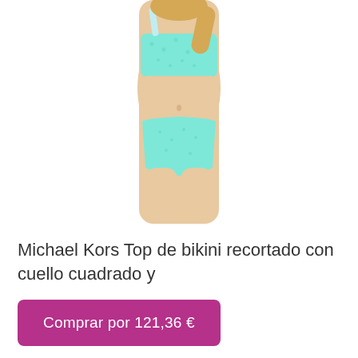[Figure (photo): Woman wearing a turquoise/mint blue bikini two-piece set (cropped square-neck top and matching bottoms with small pattern), photographed from torso to upper thigh against a white background.]
Michael Kors Top de bikini recortado con cuello cuadrado y
Comprar por 121,36 €